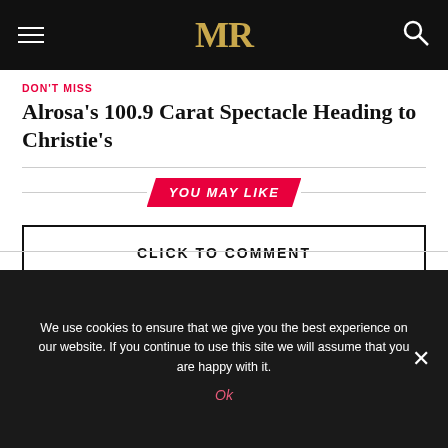MR (logo navigation bar)
DON'T MISS
Alrosa's 100.9 Carat Spectacle Heading to Christie's
YOU MAY LIKE
CLICK TO COMMENT
We use cookies to ensure that we give you the best experience on our website. If you continue to use this site we will assume that you are happy with it.
Ok